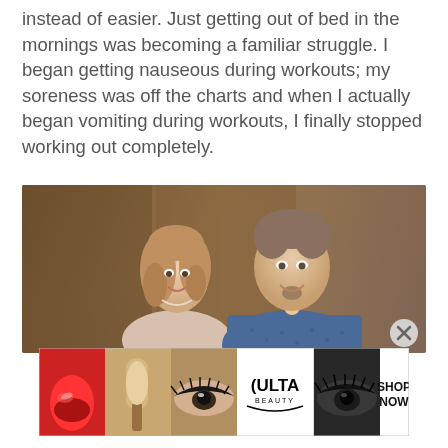instead of easier. Just getting out of bed in the mornings was becoming a familiar struggle. I began getting nauseous during workouts; my soreness was off the charts and when I actually began vomiting during workouts, I finally stopped working out completely.
[Figure (photo): A couple smiling together in a formal or semi-formal setting. A woman with curly hair on the left and a man in a blue patterned shirt on the right. Warm brown background. Close button (X) visible in bottom right corner.]
[Figure (infographic): Ulta Beauty advertisement banner showing makeup images (lipstick, makeup brush, eye makeup close-ups) alongside the Ulta Beauty logo and 'SHOP NOW' call to action.]